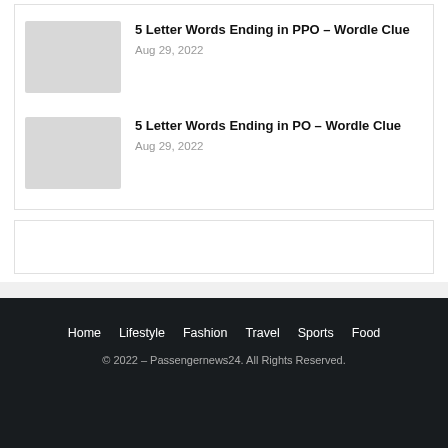5 Letter Words Ending in PPO – Wordle Clue
Aug 29, 2022
5 Letter Words Ending in PO – Wordle Clue
Aug 29, 2022
Home   Lifestyle   Fashion   Travel   Sports   Food
© 2022 – Passengernews24. All Rights Reserved.